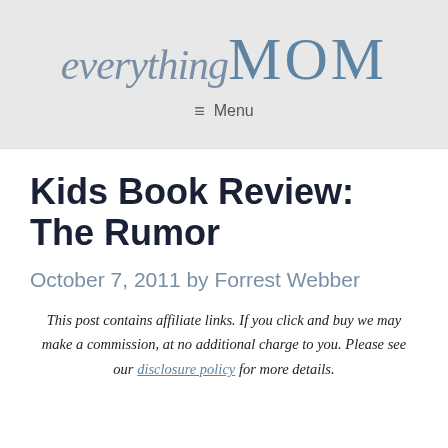everythingMOM — Menu
Kids Book Review: The Rumor
October 7, 2011 by Forrest Webber
This post contains affiliate links. If you click and buy we may make a commission, at no additional charge to you. Please see our disclosure policy for more details.